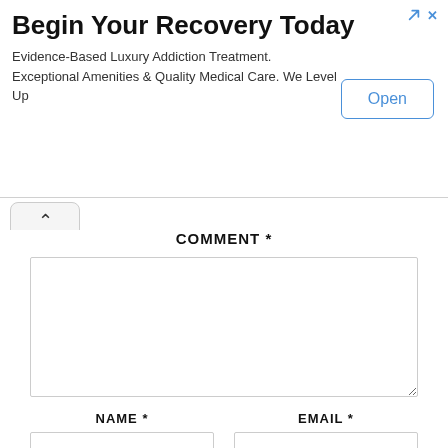[Figure (screenshot): Advertisement banner: 'Begin Your Recovery Today' — Evidence-Based Luxury Addiction Treatment. Exceptional Amenities & Quality Medical Care. We Level Up. With an 'Open' button on the right and ad icons top-right.]
COMMENT *
NAME *
EMAIL *